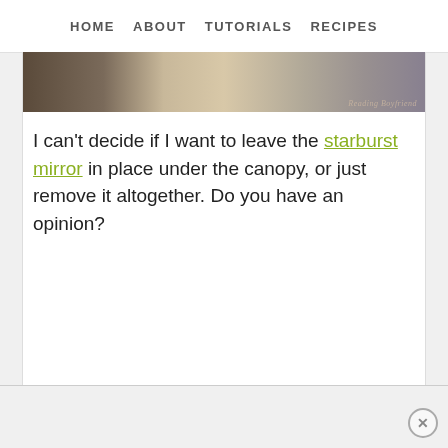HOME    ABOUT    TUTORIALS    RECIPES
[Figure (photo): Partial photo strip showing textured surfaces including dark brown material on the left and light fluffy/fur-like material on the right, with a watermark text overlay on the right side]
I can’t decide if I want to leave the starburst mirror in place under the canopy, or just remove it altogether. Do you have an opinion?